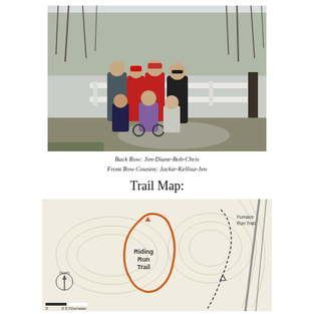[Figure (photo): Group photo of seven people in front of a white fence with bare trees in background. Four adults stand in the back row (Jim, Diane, Bob, Chris) and three in the front row (Jackie, Kellisa in wheelchair, Jen).]
Back Row: Jim-Diane-Bob-Chris
Front Row Cousins: Jackie-Kellisa-Jen
Trail Map:
[Figure (map): Trail map showing Riding Run Trail as an orange loop, with Furnace Run Trail shown as a dashed line. Includes North arrow compass, 0.5 Kilometer scale bar, and topographic contour lines in beige/tan.]